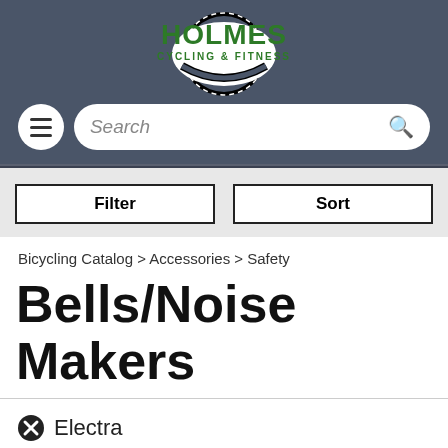[Figure (logo): Holmes Cycling & Fitness logo with green lettering on a dark background, circular gear/wheel design]
Search
Filter    Sort
Bicycling Catalog > Accessories > Safety
Bells/Noise Makers
Electra